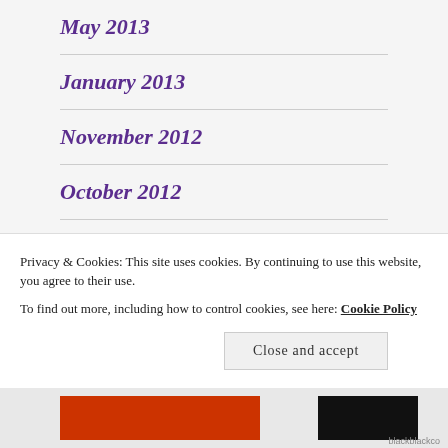May 2013
January 2013
November 2012
October 2012
August 2012
Privacy & Cookies: This site uses cookies. By continuing to use this website, you agree to their use. To find out more, including how to control cookies, see here: Cookie Policy
Close and accept